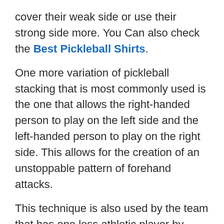cover their weak side or use their strong side more. You Can also check the Best Pickleball Shirts.
One more variation of pickleball stacking that is most commonly used is the one that allows the right-handed person to play on the left side and the left-handed person to play on the right side. This allows for the creation of an unstoppable pattern of forehand attacks.
This technique is also used by the team that has one less athletic player by allowing the most athletic player to reach the ball faster during deep shots or side shots.
The thing you need to keep in mind is the teamwork as players who haven't discussed how are they gonna play among themselves